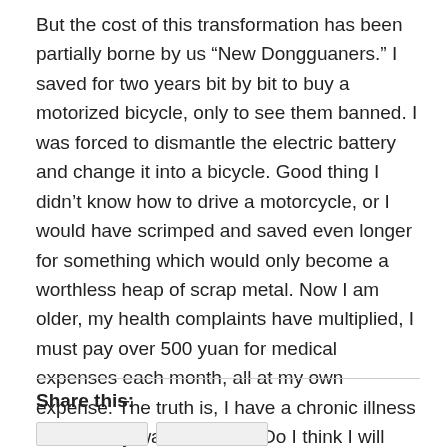But the cost of this transformation has been partially borne by us “New Dongguaners.” I saved for two years bit by bit to buy a motorized bicycle, only to see them banned. I was forced to dismantle the electric battery and change it into a bicycle. Good thing I didn’t know how to drive a motorcycle, or I would have scrimped and saved even longer for something which would only become a worthless heap of scrap metal. Now I am older, my health complaints have multiplied, I must pay over 500 yuan for medical expenses each month, all at my own expense. The truth is, I have a chronic illness –now I only wait for death. Do I think I will become a native Dongguaner? Maybe in the next life.
Share this: